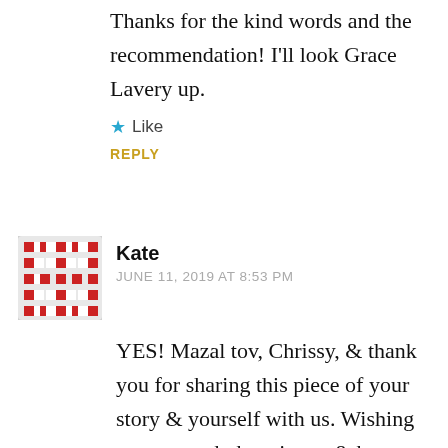Thanks for the kind words and the recommendation! I'll look Grace Lavery up.
★ Like
REPLY
Kate
JUNE 11, 2019 AT 8:53 PM
YES! Mazal tov, Chrissy, & thank you for sharing this piece of your story & yourself with us. Wishing you strength, happiness, & bravery in your continued journey & transition.
Liked by 1 person